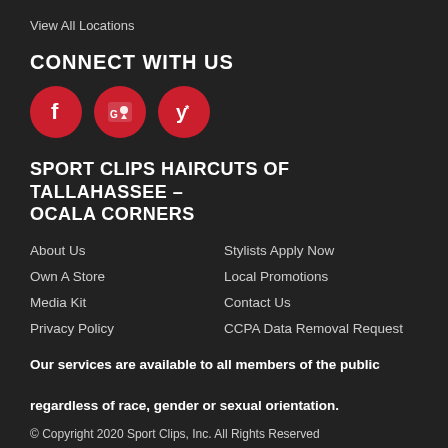View All Locations
CONNECT WITH US
[Figure (other): Three social media icons: Facebook, Google Maps, and Yelp — red circles with white icons]
SPORT CLIPS HAIRCUTS OF TALLAHASSEE – OCALA CORNERS
About Us
Own A Store
Media Kit
Privacy Policy
Stylists Apply Now
Local Promotions
Contact Us
CCPA Data Removal Request
Our services are available to all members of the public regardless of race, gender or sexual orientation.
© Copyright 2020 Sport Clips, Inc. All Rights Reserved